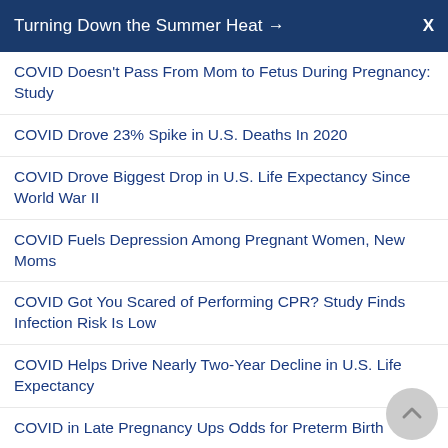Turning Down the Summer Heat →  X
COVID Doesn't Pass From Mom to Fetus During Pregnancy: Study
COVID Drove 23% Spike in U.S. Deaths In 2020
COVID Drove Biggest Drop in U.S. Life Expectancy Since World War II
COVID Fuels Depression Among Pregnant Women, New Moms
COVID Got You Scared of Performing CPR? Study Finds Infection Risk Is Low
COVID Helps Drive Nearly Two-Year Decline in U.S. Life Expectancy
COVID in Late Pregnancy Ups Odds for Preterm Birth
COVID in Pregnancy Tied to Higher Odds for 'Preemie' Delivery